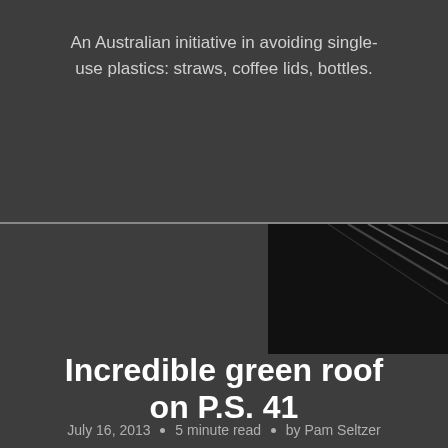An Australian initiative in avoiding single-use plastics: straws, coffee lids, bottles.
[Figure (photo): Partial photograph of green roof or similar outdoor structure, dark with diagonal lines visible in upper right of bottom section]
Incredible green roof on P.S. 41
July 16, 2013 • 5 minute read • by Pam Seltzer